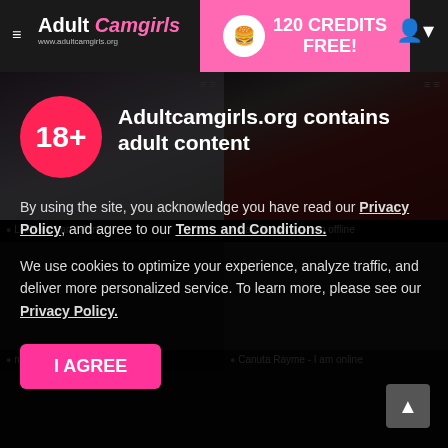Adult Camgirls — 120 CREDITS FREE!
[Figure (screenshot): Two photo thumbnails: left shows woman with red/pink short hair and glasses in grey top; right shows woman with red wavy hair in red dress]
LiliFlier - I am offline
Camila Moon - I am offline
Adultcamgirls.org contains adult content
By using the site, you acknowledge you have read our Privacy Policy, and agree to our Terms and Conditions.
We use cookies to optimize your experience, analyze traffic, and deliver more personalized service. To learn more, please see our Privacy Policy.
I AGREE